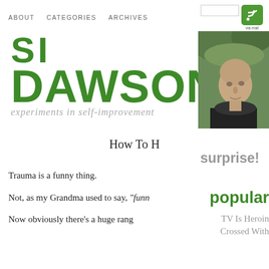ABOUT   CATEGORIES   ARCHIVES
SI DAWSON
experiments in self-improvement
[Figure (photo): Headshot photo of a man (Si Dawson) looking upward, outdoors with green foliage in background, wearing a dark jacket]
How To H
surprise!
Trauma is a funny thing.
Not, as my Grandma used to say, "funny
popular
Now obviously there's a huge rang
TV Is Heroin
Crossed With